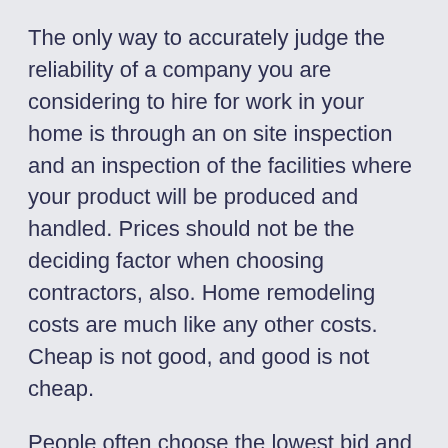The only way to accurately judge the reliability of a company you are considering to hire for work in your home is through an on site inspection and an inspection of the facilities where your product will be produced and handled. Prices should not be the deciding factor when choosing contractors, also. Home remodeling costs are much like any other costs. Cheap is not good, and good is not cheap.
People often choose the lowest bid and ultimately discover that the contractor has not done the job properly. They can also be taken in and intimidated simply by not educating themselves prior to hiring someone. Some general building contractors are like that, and though it is sad to admit, they will take advantage of someone who just lets them do as they